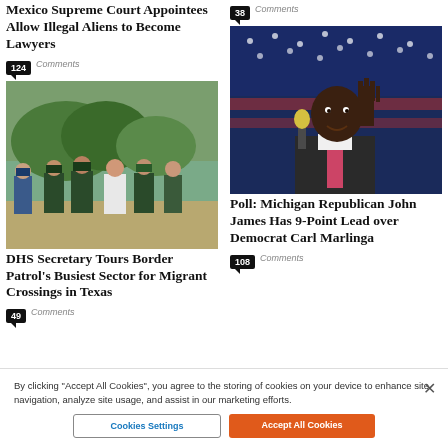Mexico Supreme Court Appointees Allow Illegal Aliens to Become Lawyers
124 Comments
[Figure (photo): Border patrol agents and officials standing near a river]
DHS Secretary Tours Border Patrol's Busiest Sector for Migrant Crossings in Texas
49 Comments
38 Comments
[Figure (photo): Black man speaking into microphone at political event with American flag background]
Poll: Michigan Republican John James Has 9-Point Lead over Democrat Carl Marlinga
108 Comments
By clicking "Accept All Cookies", you agree to the storing of cookies on your device to enhance site navigation, analyze site usage, and assist in our marketing efforts.
Cookies Settings
Accept All Cookies